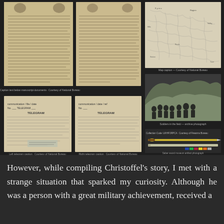[Figure (photo): Collage of six historical document images and photographs arranged in a 3x2 grid on a dark background. Top-left: Two pages of handwritten manuscript documents with aged/yellowed paper. Top-middle-right: An old military map showing terrain and routes. Middle-right: Black and white photograph of soldiers/men with equipment on a hillside. Bottom-left: Two telegram documents with handwritten text and 'TELEGRAM' header visible. Bottom-right: Photograph of a cavalry saber/sword displayed horizontally with a color calibration strip.]
However, while compiling Christoffel's story, I met with a strange situation that sparked my curiosity. Although he was a person with a great military achievement, received a